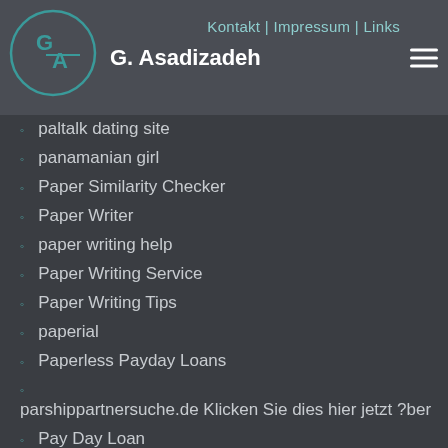G. Asadizadeh | Kontakt | Impressum | Links
paltalk dating site
panamanian girl
Paper Similarity Checker
Paper Writer
paper writing help
Paper Writing Service
Paper Writing Tips
paperial
Paperless Payday Loans
parshippartnersuche.de Klicken Sie dies hier jetzt ?ber
Pay Day Loan
Pay Day Loans
pay day loans online
Pay For Essay Cheap
pay for essays online
pay off title loan